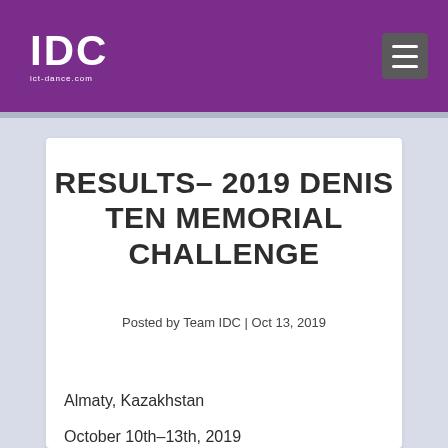IDC ict-dance.com
RESULTS– 2019 DENIS TEN MEMORIAL CHALLENGE
Posted by Team IDC | Oct 13, 2019
Almaty, Kazakhstan
October 10th-13th, 2019